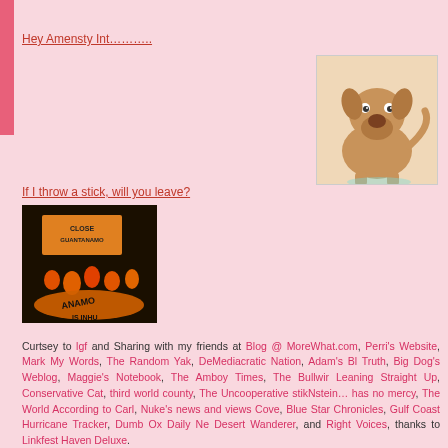Hey Amensty Int……….
[Figure (illustration): Cartoon dog sitting with confused/sad expression]
If I throw a stick, will you leave?
[Figure (photo): Protest photo with 'CLOSE GUANTANAMO' sign and orange-clad figures]
Curtsey to lgf and Sharing with my friends at Blog @ MoreWhat.com, Perri's Website, Mark My Words, The Random Yak, DeMediacratic Nation, Adam's Bl Truth, Big Dog's Weblog, Maggie's Notebook, The Amboy Times, The Bullwir Leaning Straight Up, Conservative Cat, third world county, The Uncooperative stikNstein… has no mercy, The World According to Carl, Nuke's news and views Cove, Blue Star Chronicles, Gulf Coast Hurricane Tracker, Dumb Ox Daily Ne Desert Wanderer, and Right Voices, thanks to Linkfest Haven Deluxe.
This entry was posted on Monday, June 4th, 2007 at 5:56 pm and is filed under Politix. You can follow any responses to this entry through the RSS 2.0 feed. comments and pings are currently closed.
34 Responses to “Amnesia International”